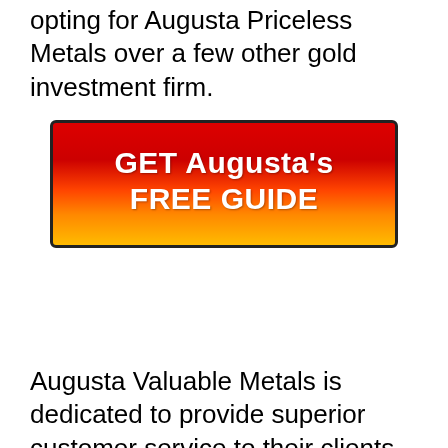opting for Augusta Priceless Metals over a few other gold investment firm.
[Figure (other): Red and gold gradient call-to-action button with text 'GET Augusta's FREE GUIDE']
Augusta Valuable Metals is dedicated to provide superior customer service to their clients. Each participant of the crew is knowledgeable, seasoned, as well as ready to offer support and also support to people hoping to buy rare-earth elements. The company’s web site discussed their top 3 commitments to their clients: being entirely transparent with costs and also charges, streamlining the process as well as carrying out 95% of the investigation for clients, and